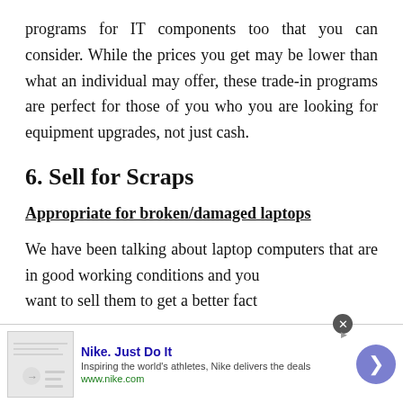programs for IT components too that you can consider. While the prices you get may be lower than what an individual may offer, these trade-in programs are perfect for those of you who you are looking for equipment upgrades, not just cash.
6. Sell for Scraps
Appropriate for broken/damaged laptops
We have been talking about laptop computers that are in good working conditions and you want to sell them to get a better fact...
[Figure (other): Nike advertisement banner at bottom of page showing Nike logo area, 'Nike. Just Do It' headline, tagline 'Inspiring the world's athletes, Nike delivers the deals', URL www.nike.com, close button (X), and right arrow navigation button in purple circle]